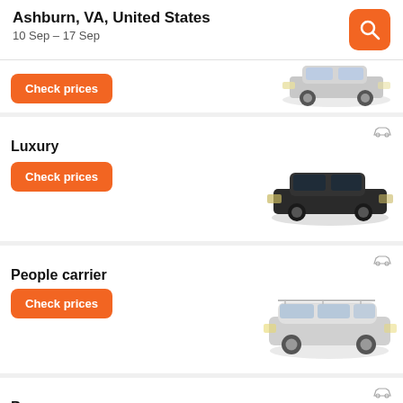Ashburn, VA, United States
10 Sep – 17 Sep
[Figure (photo): Partial view of a silver sedan car image at top of first card with a Check prices button]
Check prices
Luxury
[Figure (photo): Dark luxury sedan car image]
Check prices
People carrier
[Figure (photo): Silver minivan / people carrier car image]
Check prices
Passenger van